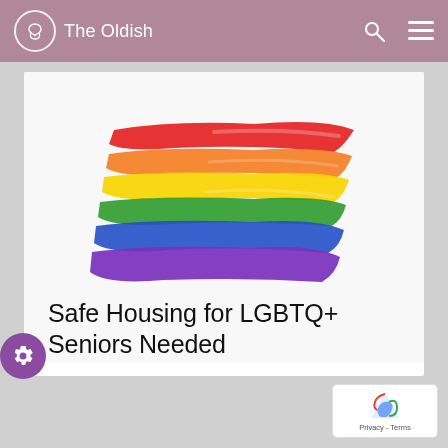The Oldish
[Figure (illustration): Rainbow pride flag painted with brush strokes showing six horizontal bands: red, orange, yellow, green, blue, and purple on a white background]
Safe Housing for LGBTQ+ Seniors Needed
By Heather Vincent Mir